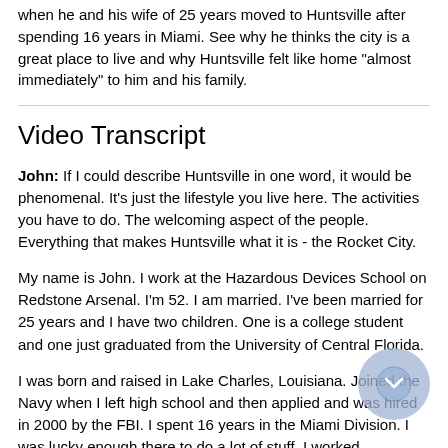when he and his wife of 25 years moved to Huntsville after spending 16 years in Miami. See why he thinks the city is a great place to live and why Huntsville felt like home "almost immediately" to him and his family.
Video Transcript
John: If I could describe Huntsville in one word, it would be phenomenal. It's just the lifestyle you live here. The activities you have to do. The welcoming aspect of the people. Everything that makes Huntsville what it is - the Rocket City.
My name is John. I work at the Hazardous Devices School on Redstone Arsenal. I'm 52. I am married. I've been married for 25 years and I have two children. One is a college student and one just graduated from the University of Central Florida.
I was born and raised in Lake Charles, Louisiana. Joined the Navy when I left high school and then applied and was hired in 2000 by the FBI. I spent 16 years in the Miami Division. I was lucky enough there to do a lot of stuff. I worked international terrorism and was able to deploy to Afghanistan four different times for a total of two years and also did a number of different TDY seasons and...